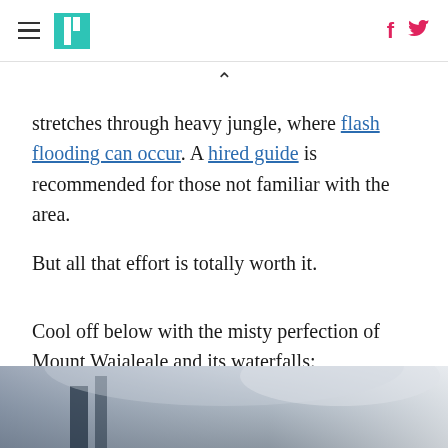HuffPost navigation with hamburger menu, logo, Facebook and Twitter icons
stretches through heavy jungle, where flash flooding can occur. A hired guide is recommended for those not familiar with the area.
But all that effort is totally worth it.
Cool off below with the misty perfection of Mount Waialeale and its waterfalls:
[Figure (photo): Misty mountain waterfall scene, dark atmospheric landscape photo of Mount Waialeale]